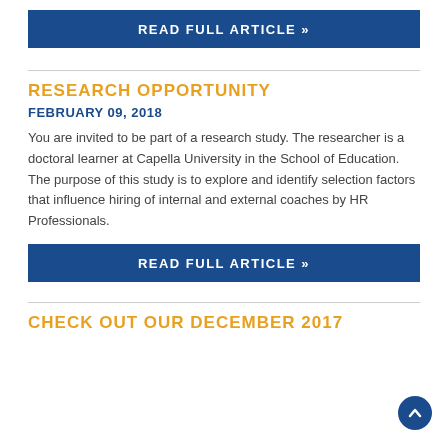READ FULL ARTICLE »
RESEARCH OPPORTUNITY
FEBRUARY 09, 2018
You are invited to be part of a research study. The researcher is a doctoral learner at Capella University in the School of Education. The purpose of this study is to explore and identify selection factors that influence hiring of internal and external coaches by HR Professionals.
READ FULL ARTICLE »
CHECK OUT OUR DECEMBER 2017